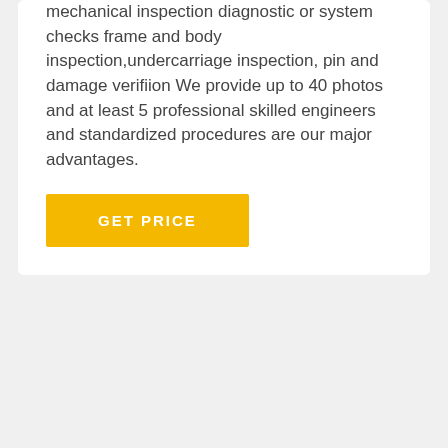mechanical inspection diagnostic or system checks frame and body inspection,undercarriage inspection, pin and damage verifiion We provide up to 40 photos and at least 5 professional skilled engineers and standardized procedures are our major advantages.
GET PRICE